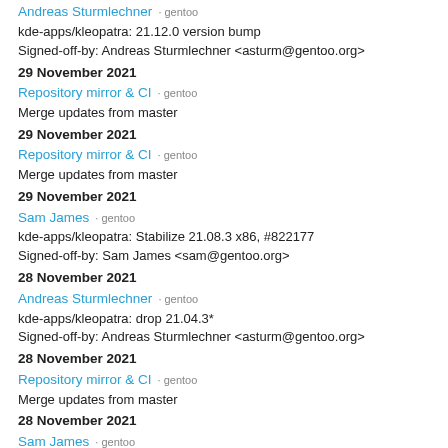Andreas Sturmlechner · gentoo
kde-apps/kleopatra: 21.12.0 version bump
Signed-off-by: Andreas Sturmlechner <asturm@gentoo.org>
29 November 2021
Repository mirror & CI · gentoo
Merge updates from master
29 November 2021
Repository mirror & CI · gentoo
Merge updates from master
29 November 2021
Sam James · gentoo
kde-apps/kleopatra: Stabilize 21.08.3 x86, #822177
Signed-off-by: Sam James <sam@gentoo.org>
28 November 2021
Andreas Sturmlechner · gentoo
kde-apps/kleopatra: drop 21.04.3*
Signed-off-by: Andreas Sturmlechner <asturm@gentoo.org>
28 November 2021
Repository mirror & CI · gentoo
Merge updates from master
28 November 2021
Sam James · gentoo